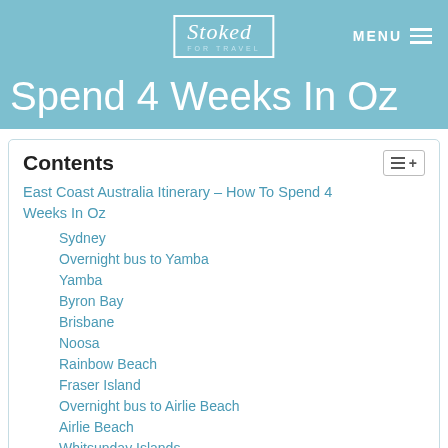Stoked for Travel — MENU
Spend 4 Weeks In Oz
Contents
East Coast Australia Itinerary – How To Spend 4 Weeks In Oz
Sydney
Overnight bus to Yamba
Yamba
Byron Bay
Brisbane
Noosa
Rainbow Beach
Fraser Island
Overnight bus to Airlie Beach
Airlie Beach
Whitsunday Islands